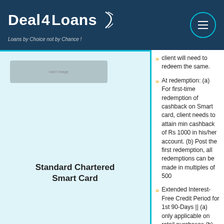Deal4Loans — Loans by Choice not by Chance !
[Figure (photo): Standard Chartered Smart Card credit card image placeholder in left panel]
Standard Chartered Smart Card
client will need to redeem the same.
At redemption: (a) For first-time redemption of cashback on Smart card, client needs to attain min cashback of Rs 1000 in his/her account. (b) Post the first redemption, all redemptions can be made in multiples of 500
Extended Interest- Free Credit Period for 1st 90-Days || (a) only applicable on retail purchases (b) not applicable on cash withdrawals (c) not applicable on transactions converted into EMI (d) minimum amount due payment mandatory in each statement cycle to avail the benefit
Exclusive Smart Card KBE offer – 0.99% p.m. & Nil